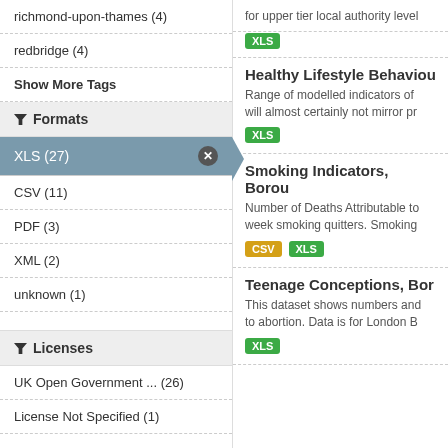richmond-upon-thames (4)
redbridge (4)
Show More Tags
Formats
XLS (27)
CSV (11)
PDF (3)
XML (2)
unknown (1)
Licenses
UK Open Government ... (26)
License Not Specified (1)
for upper tier local authority level
XLS
Healthy Lifestyle Behaviou
Range of modelled indicators of will almost certainly not mirror pr
XLS
Smoking Indicators, Borou
Number of Deaths Attributable to week smoking quitters. Smoking
CSV XLS
Teenage Conceptions, Bor
This dataset shows numbers and to abortion. Data is for London B
XLS